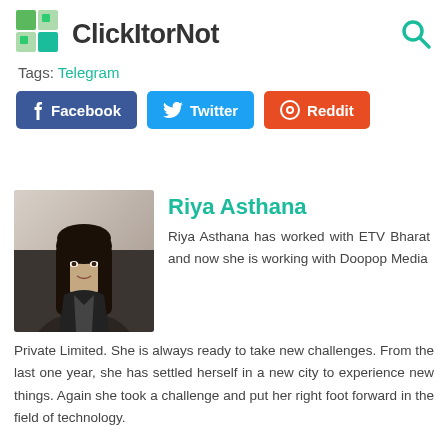ClickItorNot
Tags: Telegram
Facebook  Twitter  Reddit
[Figure (photo): Author photo of Riya Asthana — portrait of a young woman with long dark hair]
Riya Asthana
Riya Asthana has worked with ETV Bharat and now she is working with Doopop Media Private Limited. She is always ready to take new challenges. From the last one year, she has settled herself in a new city to experience new things. Again she took a challenge and put her right foot forward in the field of technology.